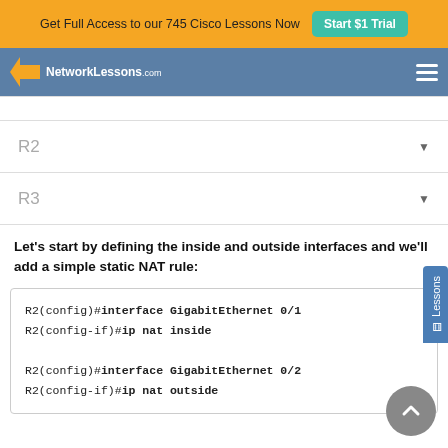Get Full Access to our 745 Cisco Lessons Now  Start $1 Trial
[Figure (logo): NetworkLessons.com logo with navigation bar on blue background]
|  |  |
| R2 | ▼ |
| R3 | ▼ |
Let's start by defining the inside and outside interfaces and we'll add a simple static NAT rule:
R2(config)#interface GigabitEthernet 0/1
R2(config-if)#ip nat inside

R2(config)#interface GigabitEthernet 0/2
R2(config-if)#ip nat outside